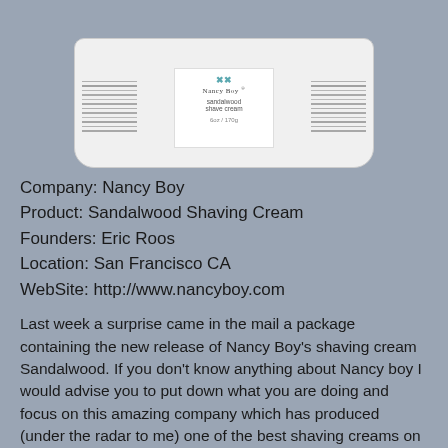[Figure (photo): Top portion of a white cylindrical tub of Nancy Boy Sandalwood Shave Cream, with label visible in center and vertical text lines on the sides, set against a grey-blue background.]
Company: Nancy Boy
Product: Sandalwood Shaving Cream
Founders: Eric Roos
Location: San Francisco CA
WebSite: http://www.nancyboy.com
Last week a surprise came in the mail a package containing the new release of Nancy Boy's shaving cream Sandalwood. If you don't know anything about Nancy boy I would advise you to put down what you are doing and focus on this amazing company which has produced (under the radar to me) one of the best shaving creams on the market today. If you haven't used the Signature Shave Cream then you missing out on something truly amazing. Let see if the second times a charm with the sandalwood.
Their packaging hasn't changed since the first signature release with simplicity being the theme here pure white tub